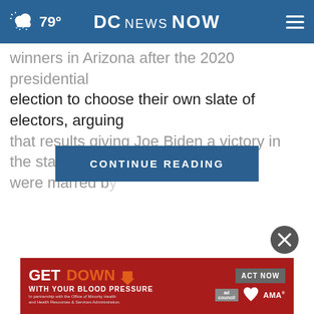DC NEWS NOW — 79°
...winners in Arizona after the 2020 presidential election to choose their own slate of electors, arguing that results giving Joe Biden a victory in the state were marred b...
CONTINUE READING
[Figure (screenshot): Close button (X) circle in gray]
[Figure (infographic): Ad banner: GET DOWN WITH YOUR BLOOD PRESSURE — ACT NOW, partnership with Office of Minority Health and Health Resources & Services Administration, with ad council, heart association, and AMA logos]